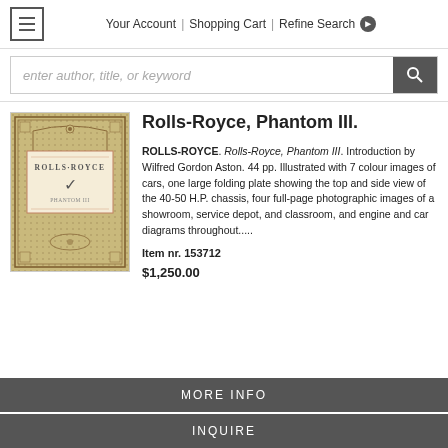Your Account | Shopping Cart | Refine Search
[Figure (screenshot): Search bar with placeholder 'enter author, title, or keyword' and a dark search button with magnifying glass icon]
[Figure (illustration): Book cover of Rolls-Royce Phantom III with ornamental border design in tan/gold colors]
Rolls-Royce, Phantom III.
ROLLS-ROYCE. Rolls-Royce, Phantom III. Introduction by Wilfred Gordon Aston. 44 pp. Illustrated with 7 colour images of cars, one large folding plate showing the top and side view of the 40-50 H.P. chassis, four full-page photographic images of a showroom, service depot, and classroom, and engine and car diagrams throughout.....
Item nr. 153712
$1,250.00
MORE INFO
INQUIRE